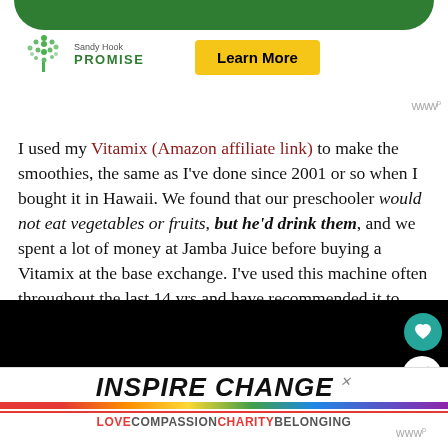[Figure (screenshot): Sandy Hook Promise advertisement banner with green wave design, tree logo, and yellow Learn More button]
I used my Vitamix (Amazon affiliate link) to make the smoothies, the same as I've done since 2001 or so when I bought it in Hawaii. We found that our preschooler would not eat vegetables or fruits, but he'd drink them, and we spent a lot of money at Jamba Juice before buying a Vitamix at the base exchange. I've used this machine often throughout the last 14 yrs and have recommended it to others. Check out Costco to purchase, though, as that may be a better deal.
[Figure (screenshot): Dark video player area with teal heart button and white share button on the right side]
[Figure (screenshot): INSPIRE CHANGE advertisement banner with rainbow bar and LOVE COMPASSION CHARITY BELONGING tagline]